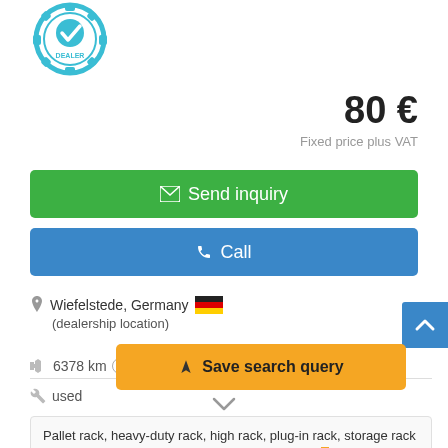[Figure (logo): Certified dealer badge/seal icon in teal/blue color]
80 €
Fixed price plus VAT
✉ Send inquiry
✆ Call
Wiefelstede, Germany 🇩🇪
(dealership location)
6378 km ?
used
Pallet rack, heavy-duty rack, high rack, plug-in rack, storage rack stand -Depth: 500 mm -Height: 2000 mm -Numb...zipzl - without: cro...
◄ Save search query